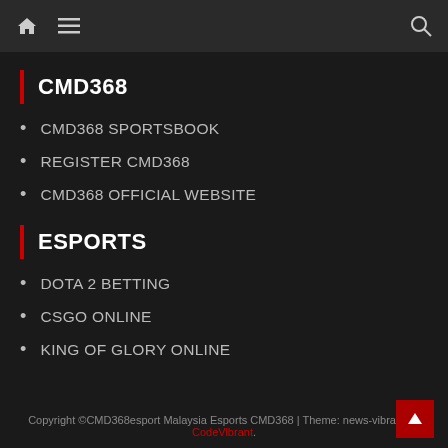Navigation bar with home icon, menu icon, and search icon
CMD368
CMD368 SPORTSBOOK
REGISTER CMD368
CMD368 OFFICIAL WEBSITE
ESPORTS
DOTA 2 BETTING
CSGO ONLINE
KING OF GLORY ONLINE
Copyright ©CMD368esport Malaysia Esports CMD368 | Theme: news-vibrant by CodeVibrant.